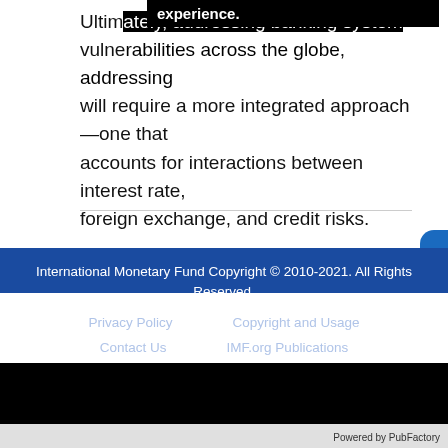Ultimately, addressing banking system vulnerabilities across the globe will require a more integrated approach—one that accounts for interactions between interest rate, foreign exchange, and credit risks.
International Monetary Fund Copyright © 2010-2021. All Rights Reserved.
Privacy Policy   Copyright and Usage
Contact Us   IMF.org Publications
Powered by PubFactory